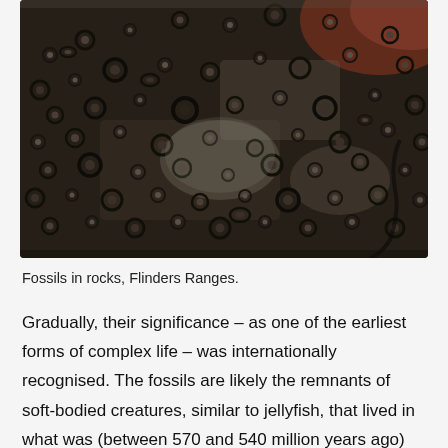[Figure (photo): Close-up photograph of fossilized rock surface showing numerous circular and oval-shaped fossil impressions embedded in dark, textured rock. The fossils appear as ring-like or disc-shaped structures scattered densely across the rock face. Colors range from dark grey and black to brownish-tan, with reddish rock visible at the top right corner. This is from Flinders Ranges, Australia.]
Fossils in rocks, Flinders Ranges.
Gradually, their significance – as one of the earliest forms of complex life – was internationally recognised. The fossils are likely the remnants of soft-bodied creatures, similar to jellyfish, that lived in what was (between 570 and 540 million years ago) shallow, warm seas. Some of these creatures got trapped in the